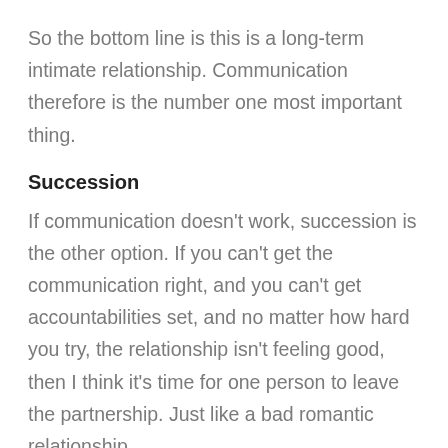So the bottom line is this is a long-term intimate relationship. Communication therefore is the number one most important thing.
Succession
If communication doesn't work, succession is the other option. If you can't get the communication right, and you can't get accountabilities set, and no matter how hard you try, the relationship isn't feeling good, then I think it's time for one person to leave the partnership. Just like a bad romantic relationship